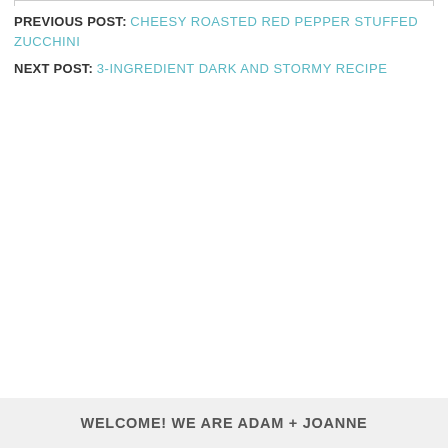PREVIOUS POST: CHEESY ROASTED RED PEPPER STUFFED ZUCCHINI
NEXT POST: 3-INGREDIENT DARK AND STORMY RECIPE
WELCOME! WE ARE ADAM + JOANNE